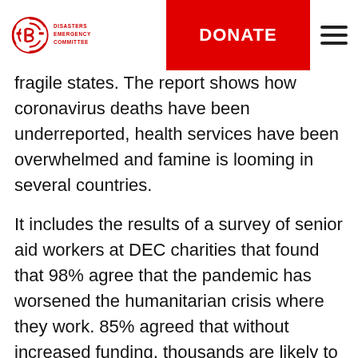Disasters Emergency Committee — DONATE
fragile states. The report shows how coronavirus deaths have been underreported, health services have been overwhelmed and famine is looming in several countries.
It includes the results of a survey of senior aid workers at DEC charities that found that 98% agree that the pandemic has worsened the humanitarian crisis where they work. 85% agreed that without increased funding, thousands are likely to die from hunger in their country in 2021. In Syria and Yemen, all those who expressed an opinion said the crises there were the worst they had been for 10 years.
…it states for example: Modeled on the UN…